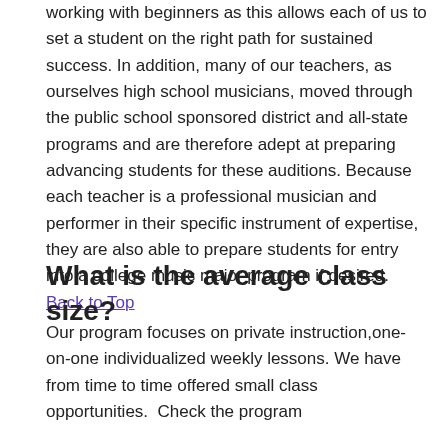working with beginners as this allows each of us to set a student on the right path for sustained success. In addition, many of our teachers, as ourselves high school musicians, moved through the public school sponsored district and all-state programs and are therefore adept at preparing advancing students for these auditions. Because each teacher is a professional musician and performer in their specific instrument of expertise, they are also able to prepare students for entry into a college music major program if desired. Back to Top
What is the average class size?
Our program focuses on private instruction,one-on-one individualized weekly lessons. We have from time to time offered small class opportunities.  Check the program